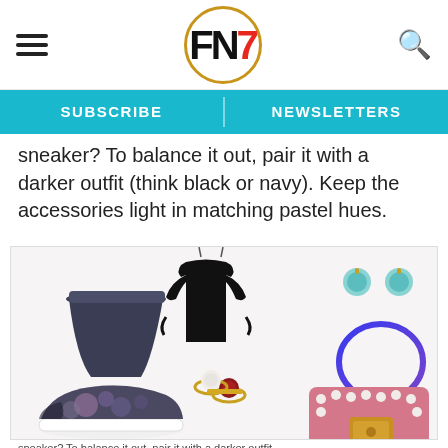FN7 — SUBSCRIBE | NEWSLETTERS
sneaker? To balance it out, pair it with a darker outfit (think black or navy). Keep the accessories light in matching pastel hues.
[Figure (photo): Flat-lay outfit collage showing: dark navy mini skirt (top left), black cold-shoulder satin top (center top), light blue gemstone stud earrings (top right), dark blue open bangle (right middle), gold double ring with pearl and garnet stones (center), floral print platform sneaker (bottom left), pink studded pearl crossbody bag (bottom right).]
sneaker? To balance it out, pair it with a darker outfit (think black or navy). Keep the accessories light in matching pastel hues.